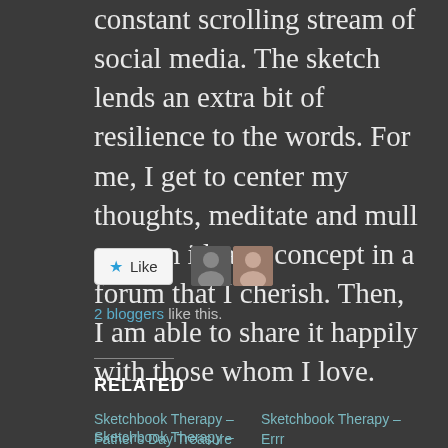constant scrolling stream of social media. The sketch lends an extra bit of resilience to the words. For me, I get to center my thoughts, meditate and mull over an idea or concept in a forum that I cherish. Then, I am able to share it happily with those whom I love.
[Figure (other): Like button with star icon and two blogger avatar thumbnails]
2 bloggers like this.
RELATED
Sketchbook Therapy – Father's Day Treasure
June 22, 2015
In "Cartooning"
Sketchbook Therapy – Errr
April 22, 2015
In "Sketchbook"
Sketchbook Therapy –